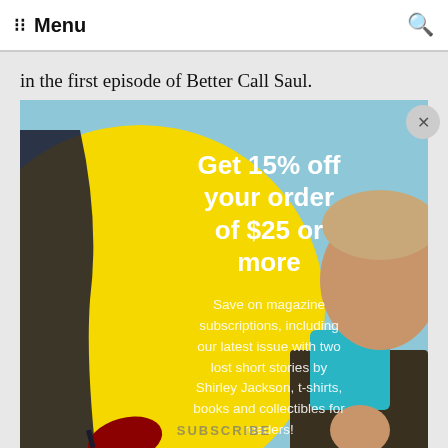Menu  🔍
in the first episode of Better Call Saul.
[Figure (illustration): Advertisement overlay showing a man in a jacket (Bob Odenkirk as Saul Goodman) against a light blue background, overlapping a stylized yellow circle graphic. The ad reads: Get 15% off your order of $25 or more. Save on magazine subscriptions, including our latest issue with two lost short stories by Shirley Jackson, t-shirts, books, and collectibles for readers! With an email input field at the bottom and an X close button.]
Saul Goodman (Bob Odenkirk), the amiably amoral lawyer from Breaking Bad, thoroughly deserves his own series. Viewers learned in Saul's first appearance that his real name was McGill, but the reasons why he became the